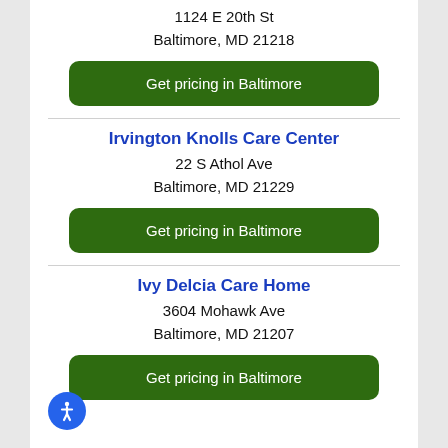1124 E 20th St
Baltimore, MD 21218
Get pricing in Baltimore
Irvington Knolls Care Center
22 S Athol Ave
Baltimore, MD 21229
Get pricing in Baltimore
Ivy Delcia Care Home
3604 Mohawk Ave
Baltimore, MD 21207
Get pricing in Baltimore